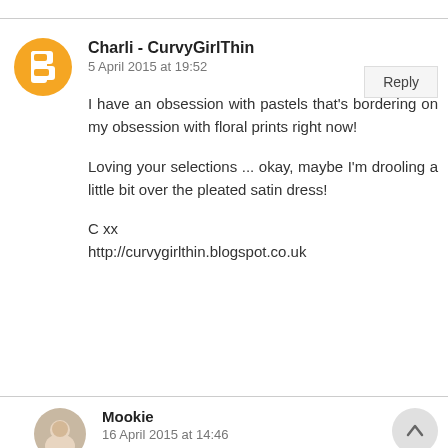Charli - CurvyGirlThin
5 April 2015 at 19:52
I have an obsession with pastels that's bordering on my obsession with floral prints right now!

Loving your selections ... okay, maybe I'm drooling a little bit over the pleated satin dress!

C xx
http://curvygirlthin.blogspot.co.uk
Mookie
16 April 2015 at 14:46
You and me the same!!! I love pastels!!! I have a floral print pastel dress on right now. The satin